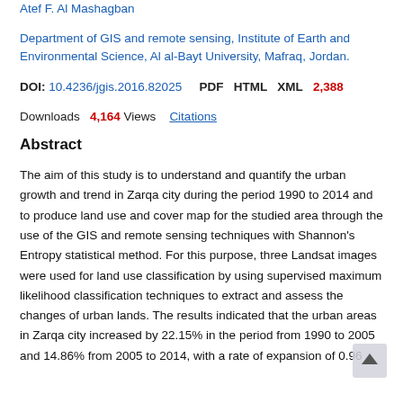Atef F. Al Mashagban
Department of GIS and remote sensing, Institute of Earth and Environmental Science, Al al-Bayt University, Mafraq, Jordan.
DOI: 10.4236/jgis.2016.82025   PDF   HTML   XML   2,388 Downloads   4,164 Views   Citations
Abstract
The aim of this study is to understand and quantify the urban growth and trend in Zarqa city during the period 1990 to 2014 and to produce land use and cover map for the studied area through the use of the GIS and remote sensing techniques with Shannon's Entropy statistical method. For this purpose, three Landsat images were used for land use classification by using supervised maximum likelihood classification techniques to extract and assess the changes of urban lands. The results indicated that the urban areas in Zarqa city increased by 22.15% in the period from 1990 to 2005 and 14.86% from 2005 to 2014, with a rate of expansion of 0.96